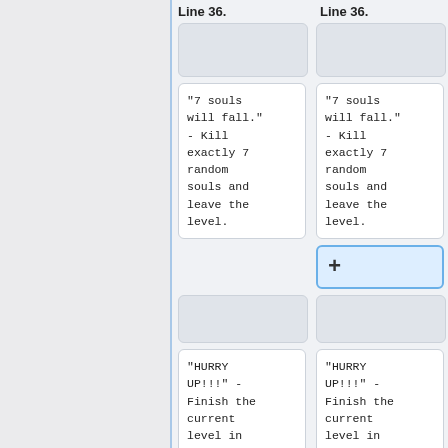Line 36.
Line 36.
"7 souls will fall." - Kill exactly 7 random souls and leave the level.
"7 souls will fall." - Kill exactly 7 random souls and leave the level.
"HURRY UP!!!" - Finish the current level in 100 turns or less
"HURRY UP!!!" - Finish the current level in 100 turns or less